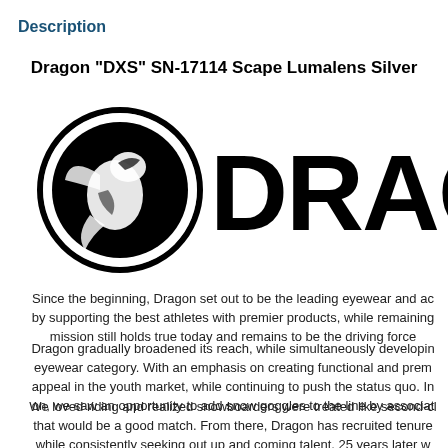Description
Dragon "DXS" SN-17114 Scape Lumalens Silver
[Figure (logo): Dragon Alliance logo: circular emblem with dragon figure on left, large black text 'DRAGG' (DRAGON) on right, partially cropped]
Since the beginning, Dragon set out to be the leading eyewear and ac by supporting the best athletes with premier products, while remaining mission still holds true today and remains to be the driving force
Dragon gradually broadened its reach, while simultaneously developin eyewear category. With an emphasis on creating functional and prem appeal in the youth market, while continuing to push the status quo. In on, we saw an opportunity to add snow goggles to the line by associat
We loved riding and realized snowboarders were treated like second-cl that would be a good match. From there, Dragon has recruited tenure while consistently seeking out up and coming talent. 25 years later w established ourselves as a pioneer in the s